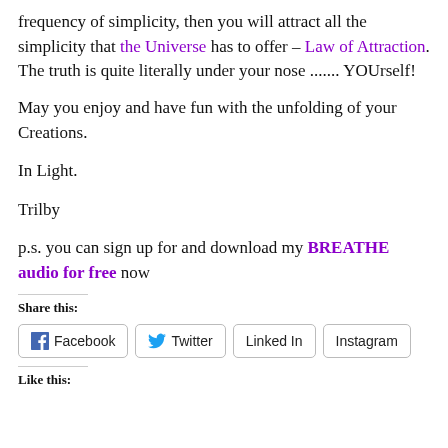frequency of simplicity, then you will attract all the simplicity that the Universe has to offer – Law of Attraction. The truth is quite literally under your nose ....... YOUrself!
May you enjoy and have fun with the unfolding of your Creations.
In Light.
Trilby
p.s. you can sign up for and download my BREATHE audio for free now
Share this:
[Figure (other): Social share buttons: Facebook, Twitter, Linked In, Instagram]
Like this: